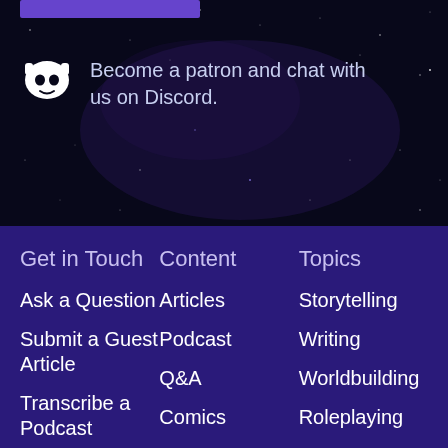[Figure (illustration): Dark night sky background with stars and purple nebula glow]
Become a patron and chat with us on Discord.
Get in Touch
Content
Topics
Ask a Question
Articles
Storytelling
Submit a Guest Article
Podcast
Writing
Q&A
Worldbuilding
Transcribe a Podcast
Comics
Roleplaying
Contact Us
Analysis